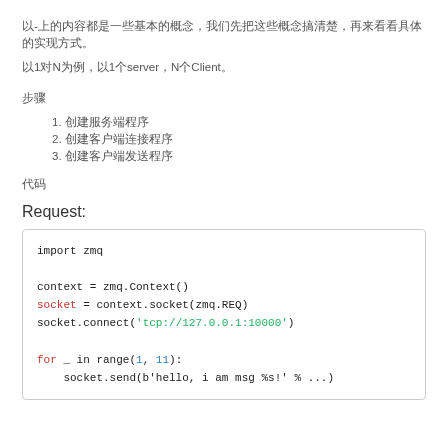以-上的内容都是一些基本的概念，我们先把这些概念搞清楚，再来看看具体的实现方式。
以1对N为例，以1个server，N个Client。
步骤
1. 创建服务端程序
2. 创建客户端连接程序
3. 创建客户端发送程序
代码
Request:
[Figure (screenshot): Python code block using zmq library: import zmq, context = zmq.Context(), socket = context.socket(zmq.REQ), socket.connect('tcp://127.0.0.1:10000'), for _ in range(1, 11): socket.send(b'hello, i am msg %s!' % ...)]